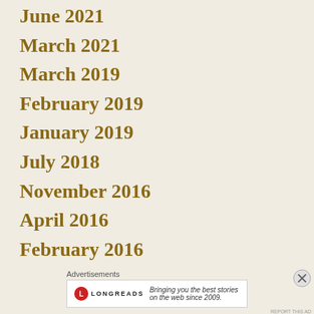June 2021
March 2021
March 2019
February 2019
January 2019
July 2018
November 2016
April 2016
February 2016
Advertisements
[Figure (logo): Longreads logo with red circle and text: Bringing you the best stories on the web since 2009.]